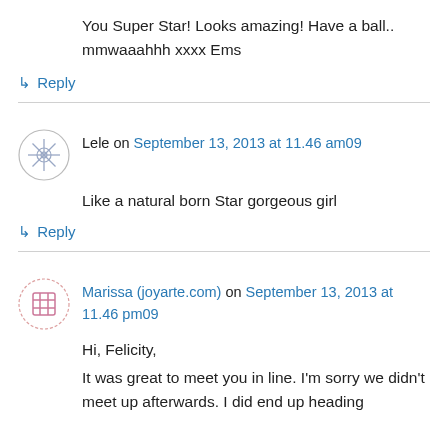You Super Star! Looks amazing! Have a ball.. mmwaaahhh xxxx Ems
↳ Reply
Lele on September 13, 2013 at 11.46 am09
Like a natural born Star gorgeous girl
↳ Reply
Marissa (joyarte.com) on September 13, 2013 at 11.46 pm09
Hi, Felicity,
It was great to meet you in line. I'm sorry we didn't meet up afterwards. I did end up heading